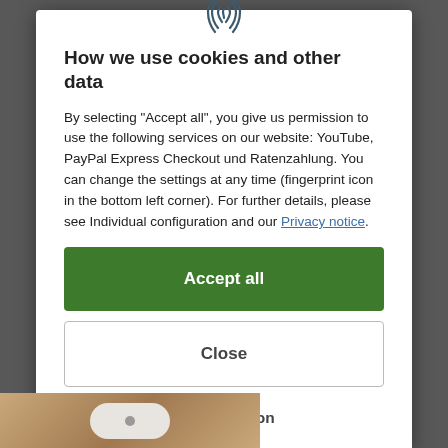[Figure (illustration): Fingerprint/biometric icon at top center of modal dialog]
How we use cookies and other data
By selecting "Accept all", you give us permission to use the following services on our website: YouTube, PayPal Express Checkout und Ratenzahlung. You can change the settings at any time (fingerprint icon in the bottom left corner). For further details, please see Individual configuration and our Privacy notice.
Accept all
Close
Configuration
[Figure (photo): Partial photo of a white oval plate or dish on a wooden surface, visible at bottom of page]